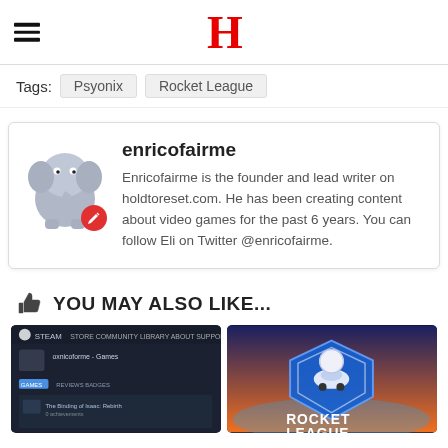H (holdtoreset logo)
Tags: Psyonix  Rocket League
enricofairme
Enricofairme is the founder and lead writer on holdtoreset.com. He has been creating content about video games for the past 6 years. You can follow Eli on Twitter @enricofairme.
YOU MAY ALSO LIKE...
[Figure (screenshot): Steam profile page screenshot (dark theme)]
[Figure (screenshot): Rocket League game logo/artwork]